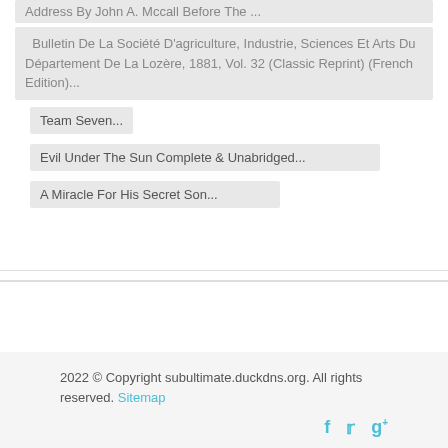Address By John A. Mccall Before The ...
Bulletin De La Société D'agriculture, Industrie, Sciences Et Arts Du Département De La Lozère, 1881, Vol. 32 (Classic Reprint) (French Edition)...
Team Seven...
Evil Under The Sun Complete & Unabridged...
A Miracle For His Secret Son...
2022 © Copyright subultimate.duckdns.org. All rights reserved. Sitemap